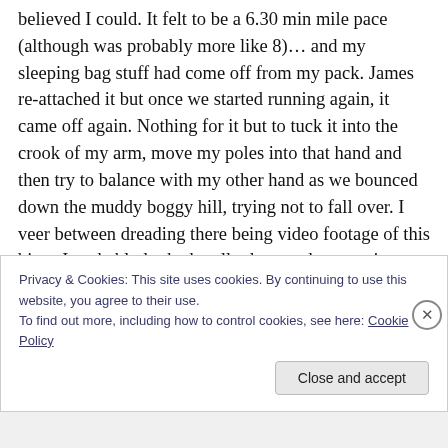believed I could. It felt to be a 6.30 min mile pace (although was probably more like 8)… and my sleeping bag stuff had come off from my pack. James re-attached it but once we started running again, it came off again. Nothing for it but to tuck it into the crook of my arm, move my poles into that hand and then try to balance with my other hand as we bounced down the muddy boggy hill, trying not to fall over. I veer between dreading there being video footage of this bit as I probably looked really deranged or wanting to see it in case it looked awesome and I actually was running really fast… anyway, James
Privacy & Cookies: This site uses cookies. By continuing to use this website, you agree to their use.
To find out more, including how to control cookies, see here: Cookie Policy